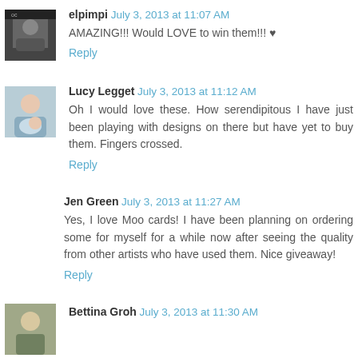elpimpi July 3, 2013 at 11:07 AM
AMAZING!!! Would LOVE to win them!!! ♥
Reply
Lucy Legget July 3, 2013 at 11:12 AM
Oh I would love these. How serendipitous I have just been playing with designs on there but have yet to buy them. Fingers crossed.
Reply
Jen Green July 3, 2013 at 11:27 AM
Yes, I love Moo cards! I have been planning on ordering some for myself for a while now after seeing the quality from other artists who have used them. Nice giveaway!
Reply
Bettina Groh July 3, 2013 at 11:30 AM